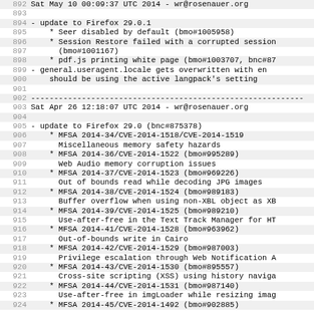892  Sat May 10 00:09:37 UTC 2014 - wr@rosenauer.org
893
894  - update to Firefox 29.0.1
895      * Seer disabled by default (bmo#1005958)
896      * Session Restore failed with a corrupted session
897        (bmo#1001167)
898      * pdf.js printing white page (bmo#1003707, bnc#87
899  - general.useragent.locale gets overwritten with en
900      should be using the active langpack's setting
901
902  -----------------------------------------------------------
903  Sat Apr 26 12:18:07 UTC 2014 - wr@rosenauer.org
904
905  - update to Firefox 29.0 (bnc#875378)
906      * MFSA 2014-34/CVE-2014-1518/CVE-2014-1519
907        Miscellaneous memory safety hazards
908      * MFSA 2014-36/CVE-2014-1522 (bmo#995289)
909        Web Audio memory corruption issues
910      * MFSA 2014-37/CVE-2014-1523 (bmo#969226)
911        Out of bounds read while decoding JPG images
912      * MFSA 2014-38/CVE-2014-1524 (bmo#989183)
913        Buffer overflow when using non-XBL object as XB
914      * MFSA 2014-39/CVE-2014-1525 (bmo#989210)
915        Use-after-free in the Text Track Manager for HT
916      * MFSA 2014-41/CVE-2014-1528 (bmo#963962)
917        Out-of-bounds write in Cairo
918      * MFSA 2014-42/CVE-2014-1529 (bmo#987003)
919        Privilege escalation through Web Notification A
920      * MFSA 2014-43/CVE-2014-1530 (bmo#895557)
921        Cross-site scripting (XSS) using history naviga
922      * MFSA 2014-44/CVE-2014-1531 (bmo#987140)
923        Use-after-free in imgLoader while resizing imag
924      * MFSA 2014-45/CVE-2014-1492 (bmo#902885)